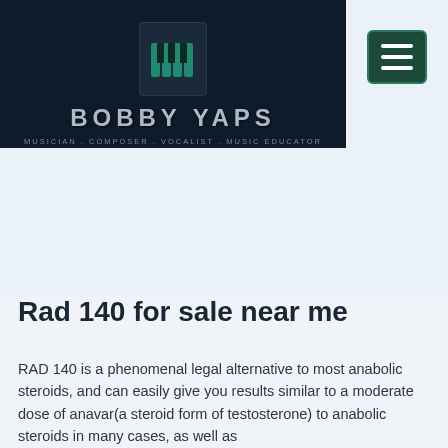[Figure (logo): Bobby Yaps website header with piano keys logo, brand name BOBBY YAPS, and tagline MUSICIAN . COMPOSER . VOCALIST . MUSIC EDUCATOR on dark navy background, plus hamburger menu button on right]
Rad 140 for sale near me
RAD 140 is a phenomenal legal alternative to most anabolic steroids, and can easily give you results similar to a moderate dose of anavar(a steroid form of testosterone) to anabolic steroids in many cases, as well as